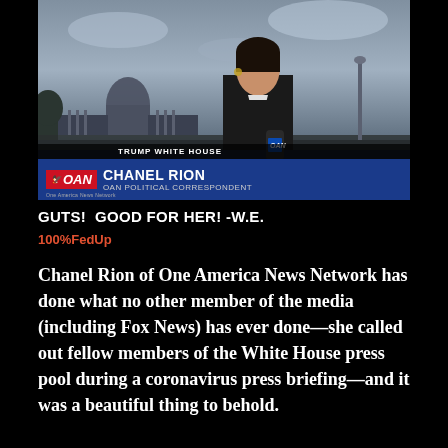[Figure (screenshot): TV screenshot of OAN (One America News Network) correspondent Chanel Rion reporting live from outside the US Capitol building. Lower-third graphic shows 'TRUMP WHITE HOUSE' above OAN logo with name 'CHANEL RION' and title 'OAN POLITICAL CORRESPONDENT' on a blue bar. Reporter holds a microphone with OAN branding.]
GUTS!  GOOD FOR HER! -W.E.
100%FedUp
Chanel Rion of One America News Network has done what no other member of the media (including Fox News) has ever done—she called out fellow members of the White House press pool during a coronavirus press briefing—and it was a beautiful thing to behold.